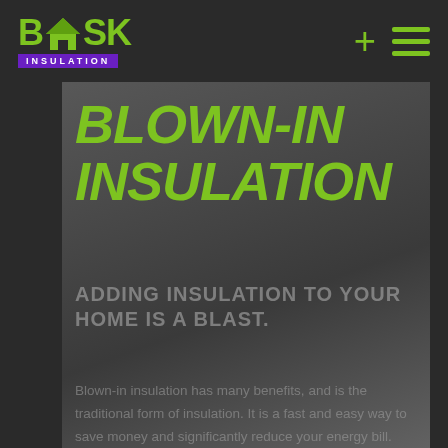[Figure (logo): Bask Insulation logo with green house icon and purple INSULATION banner, plus navigation icons (+ and hamburger menu) on dark background]
BLOWN-IN INSULATION
ADDING INSULATION TO YOUR HOME IS A BLAST.
Blown-in insulation has many benefits, and is the traditional form of insulation. It is a fast and easy way to save money and significantly reduce your energy bill.